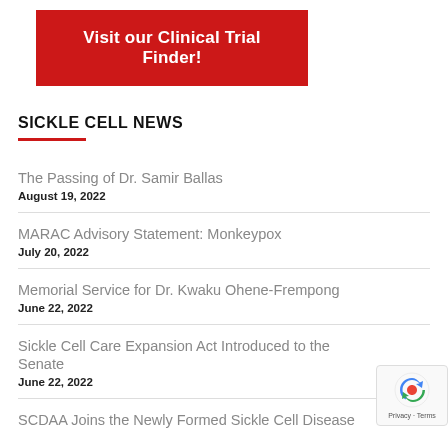[Figure (other): Red banner button with white text: Visit our Clinical Trial Finder!]
SICKLE CELL NEWS
The Passing of Dr. Samir Ballas
August 19, 2022
MARAC Advisory Statement: Monkeypox
July 20, 2022
Memorial Service for Dr. Kwaku Ohene-Frempong
June 22, 2022
Sickle Cell Care Expansion Act Introduced to the Senate
June 22, 2022
SCDAA Joins the Newly Formed Sickle Cell Disease